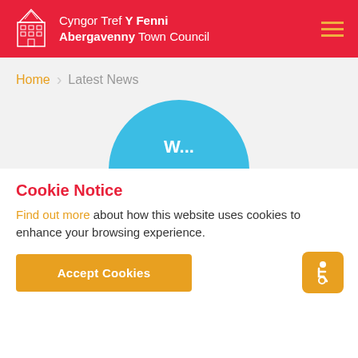Cyngor Tref Y Fenni Abergavenny Town Council
Home > Latest News
[Figure (illustration): Partial blue circle visible at bottom of gray content area with white text]
Cookie Notice
Find out more about how this website uses cookies to enhance your browsing experience.
Accept Cookies